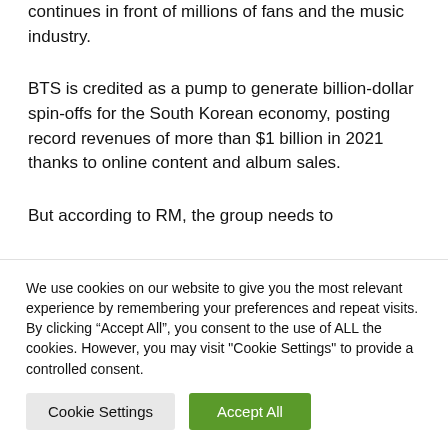continues in front of millions of fans and the music industry.
BTS is credited as a pump to generate billion-dollar spin-offs for the South Korean economy, posting record revenues of more than $1 billion in 2021 thanks to online content and album sales.
But according to RM, the group needs to
We use cookies on our website to give you the most relevant experience by remembering your preferences and repeat visits. By clicking “Accept All”, you consent to the use of ALL the cookies. However, you may visit "Cookie Settings" to provide a controlled consent.